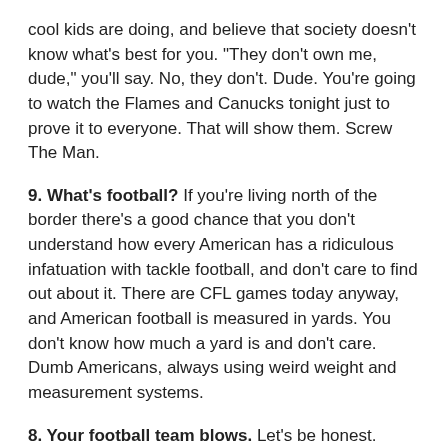cool kids are doing, and believe that society doesn't know what's best for you. "They don't own me, dude," you'll say. No, they don't. Dude. You're going to watch the Flames and Canucks tonight just to prove it to everyone. That will show them. Screw The Man.
9. What's football? If you're living north of the border there's a good chance that you don't understand how every American has a ridiculous infatuation with tackle football, and don't care to find out about it. There are CFL games today anyway, and American football is measured in yards. You don't know how much a yard is and don't care. Dumb Americans, always using weird weight and measurement systems.
8. Your football team blows. Let's be honest. There are, in fact, a few people out there who follow both sports. While you may watch football, there's an awfully good chance that your team is already eliminated from playoff contention. That's all the more reason to watch some hockey! In hockey, the games will probably matter. (Except for football fans in Indianapolis, Boston, Dallas and Green Bay. You're excused